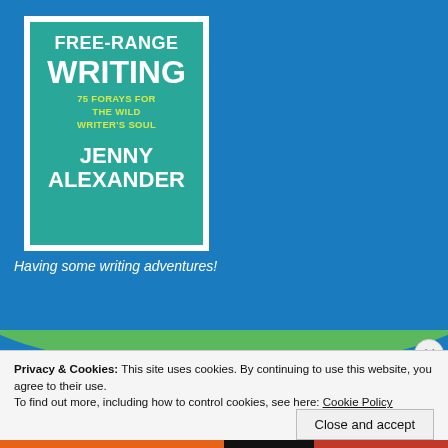[Figure (illustration): Book cover for 'Free-Range Writing: 75 Forays for the Wild Writer's Soul' by Jenny Alexander, teal/green background with white bold text and yellow-green subtitle, on a blue background]
Having some writing adventures!
Privacy & Cookies: This site uses cookies. By continuing to use this website, you agree to their use.
To find out more, including how to control cookies, see here: Cookie Policy
Close and accept